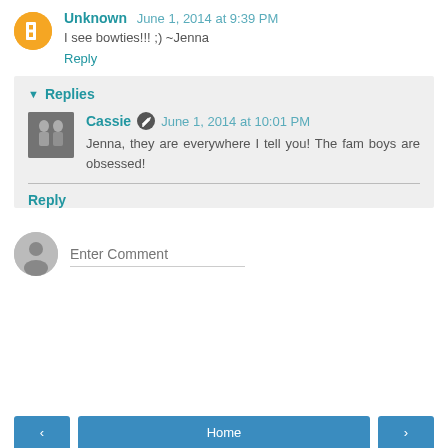Unknown  June 1, 2014 at 9:39 PM
I see bowties!!! ;) ~Jenna
Reply
Replies
Cassie  June 1, 2014 at 10:01 PM
Jenna, they are everywhere I tell you! The fam boys are obsessed!
Reply
Enter Comment